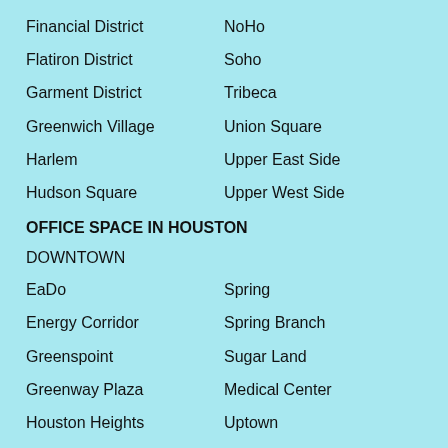Financial District
NoHo
Flatiron District
Soho
Garment District
Tribeca
Greenwich Village
Union Square
Harlem
Upper East Side
Hudson Square
Upper West Side
OFFICE SPACE IN HOUSTON
DOWNTOWN
EaDo
Spring
Energy Corridor
Spring Branch
Greenspoint
Sugar Land
Greenway Plaza
Medical Center
Houston Heights
Uptown
Memorial
West University